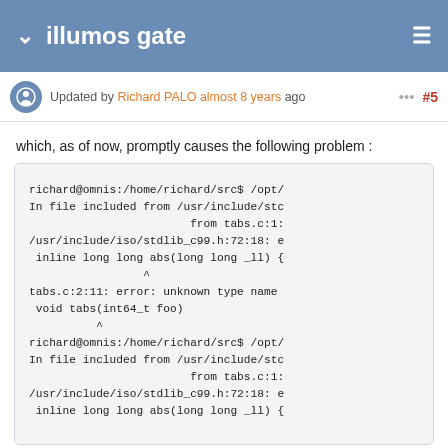illumos gate
Updated by Richard PALO almost 8 years ago  ...  #5
which, as of now, promptly causes the following problem :
richard@omnis:/home/richard/src$ /opt/
In file included from /usr/include/stc
                        from tabs.c:1:
/usr/include/iso/stdlib_c99.h:72:18: e
 inline long long abs(long long _ll) {
                 ^
tabs.c:2:11: error: unknown type name
 void tabs(int64_t foo)
          ^
richard@omnis:/home/richard/src$ /opt/
In file included from /usr/include/stc
                        from tabs.c:1:
/usr/include/iso/stdlib_c99.h:72:18: e
 inline long long abs(long long _ll) {